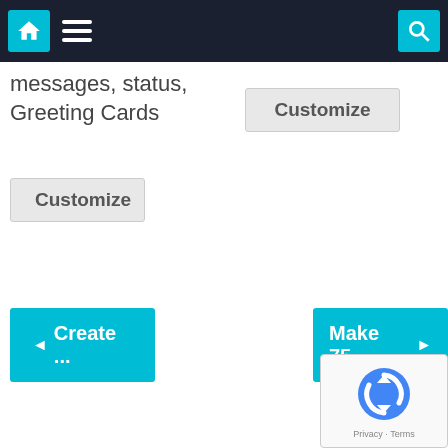Navigation bar with home, menu, and search icons
messages, status, Greeting Cards
Customize
Customize
◄ Create ...
Make 75... ►
[Figure (logo): reCAPTCHA logo with refresh icon, Privacy and Terms text]